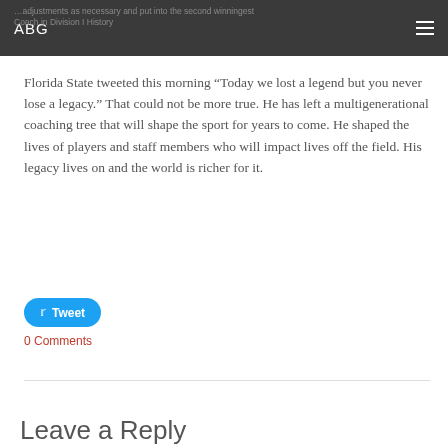ABG
…adjustments as necessary and put into the second winningest Coach in Division I History
Florida State tweeted this morning “Today we lost a legend but you never lose a legacy.” That could not be more true. He has left a multigenerational coaching tree that will shape the sport for years to come. He shaped the lives of players and staff members who will impact lives off the field. His legacy lives on and the world is richer for it.
Tweet
0 Comments
Leave a Reply